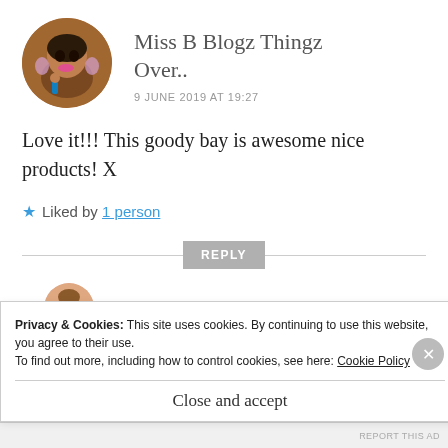[Figure (photo): Circular avatar photo of a woman with pink lips and blue nails posing thoughtfully]
Miss B Blogz Thingz Over..
9 JUNE 2019 AT 19:27
Love it!!! This goody bay is awesome nice products! X
★ Liked by 1 person
REPLY
[Figure (photo): Partial circular avatar of another user, cut off at bottom of visible area]
Privacy & Cookies: This site uses cookies. By continuing to use this website, you agree to their use.
To find out more, including how to control cookies, see here: Cookie Policy
Close and accept